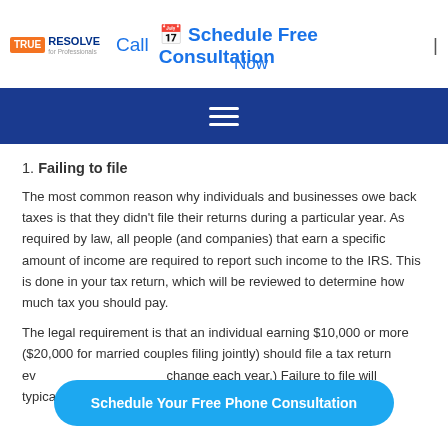TrueResolve | Call | Schedule Free Consultation | Now
1. Failing to file
The most common reason why individuals and businesses owe back taxes is that they didn't file their returns during a particular year. As required by law, all people (and companies) that earn a specific amount of income are required to report such income to the IRS. This is done in your tax return, which will be reviewed to determine how much tax you should pay.
The legal requirement is that an individual earning $10,000 or more ($20,000 for married couples filing jointly) should file a tax return ev... change each year.) Failure to file will typically result in past due
Schedule Your Free Phone Consultation